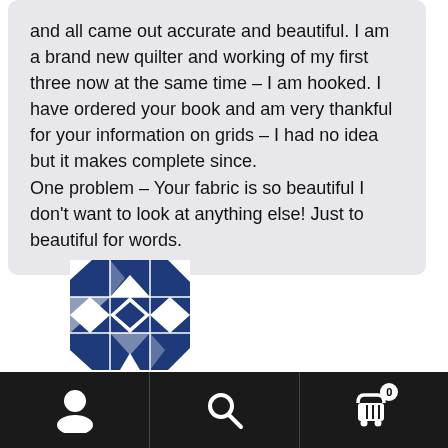and all came out accurate and beautiful. I am a brand new quilter and working of my first three now at the same time – I am hooked. I have ordered your book and am very thankful for your information on grids – I had no idea but it makes complete since.
One problem – Your fabric is so beautiful I don't want to look at anything else! Just to beautiful for words.
[Figure (logo): Blue and white quilt pattern logo — geometric star/diamond shapes in navy blue]
[Figure (infographic): Bottom navigation bar with person/account icon, search icon, and shopping cart icon with badge showing 0]